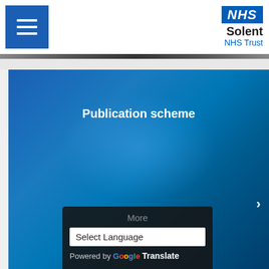[Figure (logo): NHS Solent NHS Trust logo with blue NHS badge and hamburger menu button]
Publication scheme
More
Select Language
Powered by Google Translate